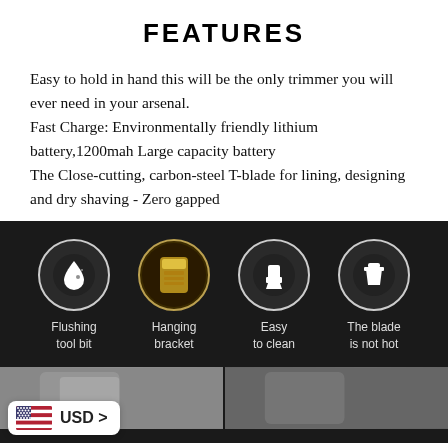FEATURES
Easy to hold in hand this will be the only trimmer you will ever need in your arsenal.
Fast Charge: Environmentally friendly lithium battery,1200mah Large capacity battery
The Close-cutting, carbon-steel T-blade for lining, designing and dry shaving - Zero gapped
[Figure (infographic): Dark banner with four circular icons on black background: Flushing tool bit (water drop icon), Hanging bracket (photo of gold trimmer blade), Easy to clean (brush icon), The blade is not hot (cup/container icon). Each icon has a label below it in white/light text.]
[Figure (photo): Two side-by-side product photos on dark background, partially visible at bottom of page. Left photo shows gold/black trimmer, right shows another product shot.]
USD >